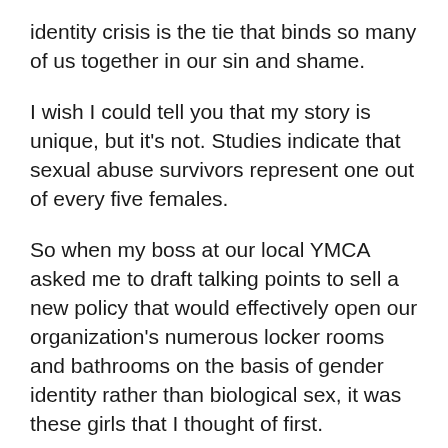identity crisis is the tie that binds so many of us together in our sin and shame.
I wish I could tell you that my story is unique, but it's not. Studies indicate that sexual abuse survivors represent one out of every five females.
So when my boss at our local YMCA asked me to draft talking points to sell a new policy that would effectively open our organization's numerous locker rooms and bathrooms on the basis of gender identity rather than biological sex, it was these girls that I thought of first.
I thought of the innocent little ones getting ready for swimming class who might find themselves exposed to a predatory male. I thought of the